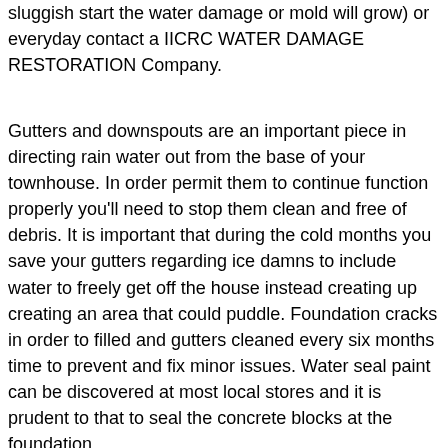sluggish start the water damage or mold will grow) or everyday contact a IICRC WATER DAMAGE RESTORATION Company.
Gutters and downspouts are an important piece in directing rain water out from the base of your townhouse. In order permit them to continue function properly you'll need to stop them clean and free of debris. It is important that during the cold months you save your gutters regarding ice damns to include water to freely get off the house instead creating up creating an area that could puddle. Foundation cracks in order to filled and gutters cleaned every six months time to prevent and fix minor issues. Water seal paint can be discovered at most local stores and it is prudent to that to seal the concrete blocks at the foundation.